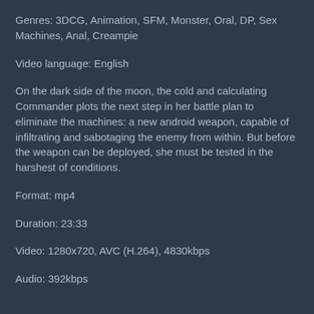Genres: 3DCG, Animation, SFM, Monster, Oral, DP, Sex Machines, Anal, Creampie
Video language: English
On the dark side of the moon, the cold and calculating Commander plots the next step in her battle plan to eliminate the machines: a new android weapon, capable of infiltrating and sabotaging the enemy from within. But before the weapon can be deployed, she must be tested in the harshest of conditions.
Format: mp4
Duration: 23:33
Video: 1280x720, AVC (H.264), 4830kbps
Audio: 392kbps